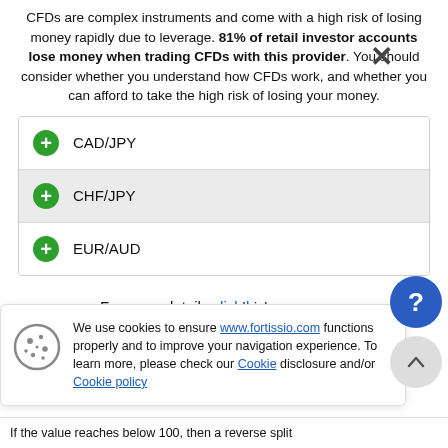CFDs are complex instruments and come with a high risk of losing money rapidly due to leverage. 81% of retail investor accounts lose money when trading CFDs with this provider. You should consider whether you understand how CFDs work, and whether you can afford to take the high risk of losing your money.
CAD/JPY
CHF/JPY
EUR/AUD
For more details click here.
We use cookies to ensure www.fortissio.com functions properly and to improve your navigation experience. To learn more, please check our Cookie disclosure and/or Cookie policy
nd risky ology behind tives are occur under
If the value reaches below 100, then a reverse split